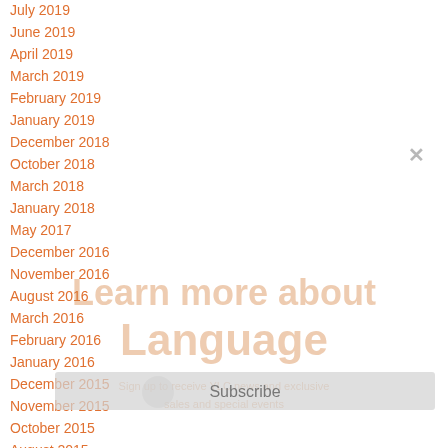July 2019
June 2019
April 2019
March 2019
February 2019
January 2019
December 2018
October 2018
March 2018
January 2018
May 2017
December 2016
November 2016
August 2016
March 2016
February 2016
January 2016
December 2015
November 2015
October 2015
August 2015
[Figure (screenshot): Modal popup overlay with title 'Learn more about Language', subscribe button, and close X button partially visible over a list of archive dates]